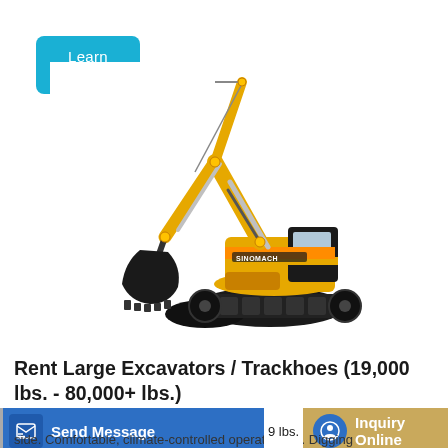Learn More
[Figure (photo): Yellow Sinomach large excavator / trackhoe with extended arm and bucket, on white background]
Rent Large Excavators / Trackhoes (19,000 lbs. - 80,000+ lbs.)
Send Message
Inquiry Online
9 lbs.
side. Comfortable, climate-controlled operator cab. Digging